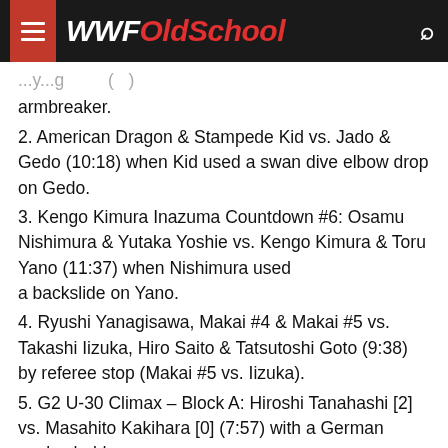WWFOldSchool
armbreaker.
2. American Dragon & Stampede Kid vs. Jado & Gedo (10:18) when Kid used a swan dive elbow drop on Gedo.
3. Kengo Kimura Inazuma Countdown #6: Osamu Nishimura & Yutaka Yoshie vs. Kengo Kimura & Toru Yano (11:37) when Nishimura used a backslide on Yano.
4. Ryushi Yanagisawa, Makai #4 & Makai #5 vs. Takashi Iizuka, Hiro Saito & Tatsutoshi Goto (9:38) by referee stop (Makai #5 vs. Iizuka).
5. G2 U-30 Climax – Block A: Hiroshi Tanahashi [2] vs. Masahito Kakihara [0] (7:57) with a German suplex hold.
6. G2 U-30 Climax – Block A: Makai #2 [2] vs. Shinya Makabe [4] (6:05) with a backslide.
7. AKIRA, Heat & Tiger Mask vs. Koji Kanemoto, Jushin Thunder Liger & Minoru Fujita (14:11) when Tiger used a